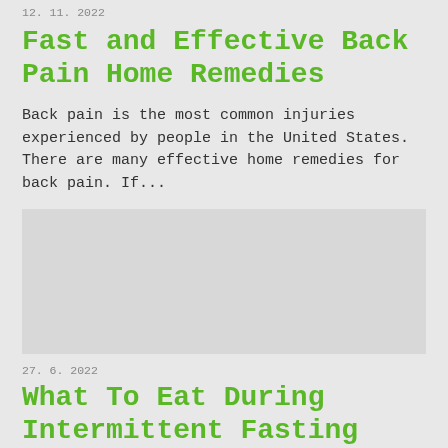12. 11. 2022
Fast and Effective Back Pain Home Remedies
Back pain is the most common injuries experienced by people in the United States. There are many effective home remedies for back pain. If...
[Figure (photo): Image placeholder for back pain article]
27. 6. 2022
What To Eat During Intermittent Fasting